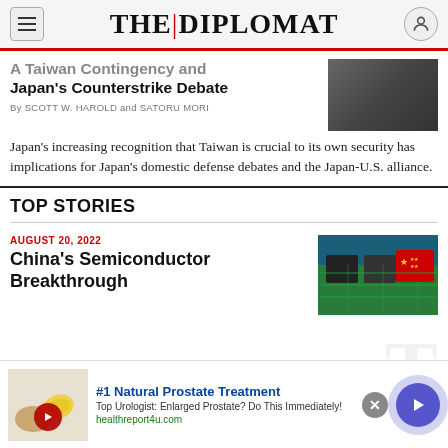THE | DIPLOMAT
A Taiwan Contingency and Japan's Counterstrike Debate
By SCOTT W. HAROLD and SATORU MORI
Japan's increasing recognition that Taiwan is crucial to its own security has implications for Japan's domestic defense debates and the Japan-U.S. alliance.
TOP STORIES
AUGUST 20, 2022
China's Semiconductor Breakthrough
[Figure (photo): Advertisement banner: #1 Natural Prostate Treatment]